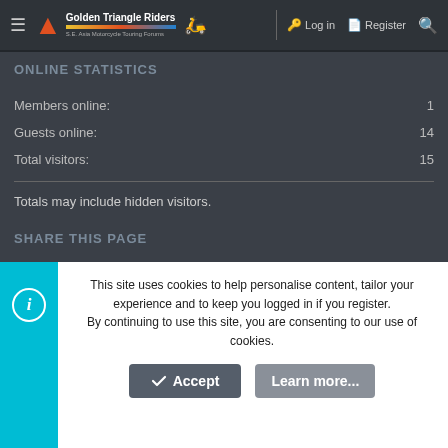Golden Triangle Riders — SE Asia Motorcycle Touring Forums | Log in | Register
ONLINE STATISTICS
Members online: 1
Guests online: 14
Total visitors: 15
Totals may include hidden visitors.
SHARE THIS PAGE
Share this page
This site uses cookies to help personalise content, tailor your experience and to keep you logged in if you register. By continuing to use this site, you are consenting to our use of cookies.
Accept
Learn more...